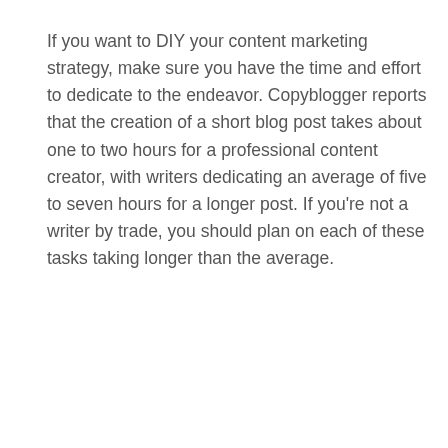If you want to DIY your content marketing strategy, make sure you have the time and effort to dedicate to the endeavor. Copyblogger reports that the creation of a short blog post takes about one to two hours for a professional content creator, with writers dedicating an average of five to seven hours for a longer post. If you're not a writer by trade, you should plan on each of these tasks taking longer than the average.